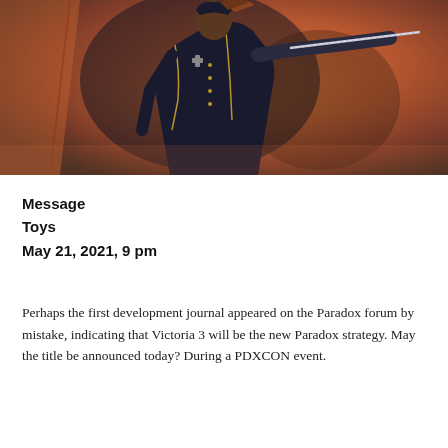[Figure (illustration): Digital illustration of a military figure in a dark navy uniform with gold trim, wielding a sword, set against an orange and smoky background]
Message
Toys
May 21, 2021, 9 pm
Perhaps the first development journal appeared on the Paradox forum by mistake, indicating that Victoria 3 will be the new Paradox strategy. May the title be announced today? During a PDXCON event.